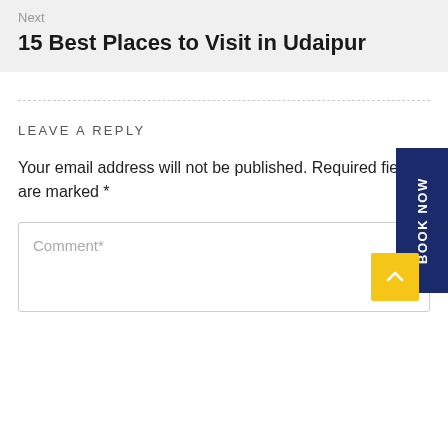Next
15 Best Places to Visit in Udaipur
LEAVE A REPLY
Your email address will not be published. Required fields are marked *
Comment*